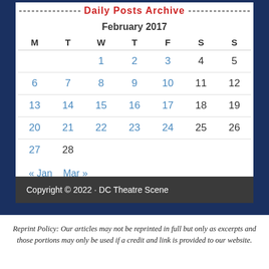Daily Posts Archive
| M | T | W | T | F | S | S |
| --- | --- | --- | --- | --- | --- | --- |
|  |  | 1 | 2 | 3 | 4 | 5 |
| 6 | 7 | 8 | 9 | 10 | 11 | 12 |
| 13 | 14 | 15 | 16 | 17 | 18 | 19 |
| 20 | 21 | 22 | 23 | 24 | 25 | 26 |
| 27 | 28 |  |  |  |  |  |
« Jan   Mar »
Copyright © 2022 · DC Theatre Scene
Reprint Policy: Our articles may not be reprinted in full but only as excerpts and those portions may only be used if a credit and link is provided to our website.